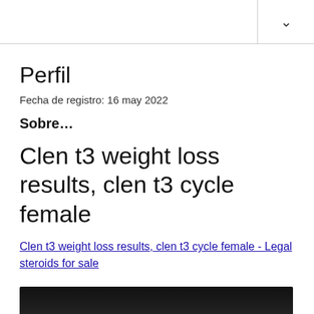Perfil
Fecha de registro: 16 may 2022
Sobre…
Clen t3 weight loss results, clen t3 cycle female
Clen t3 weight loss results, clen t3 cycle female - Legal steroids for sale
[Figure (photo): Dark blurred image at the bottom of the page]